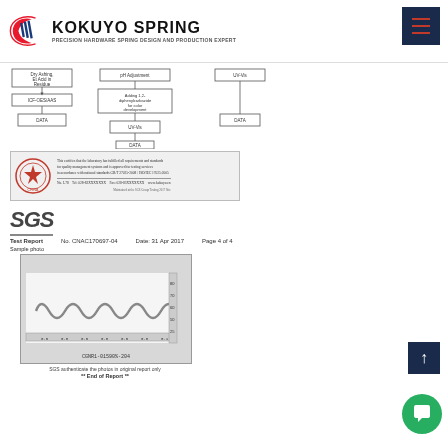KOKUYO SPRING — PRECISION HARDWARE SPRING DESIGN AND PRODUCTION EXPERT
[Figure (flowchart): Two-column flowchart showing process steps for testing/certification, with boxes connected by arrows including steps like 'Dry Ashing', 'ICF-OES/AAS', 'DATA', 'pH Adjustment', 'Adding 1,2-diphenylcarbazide for color development', 'UV-Vis', 'DATA']
[Figure (photo): Certificate document with red circular seal/stamp on the left and dense Chinese/English text on the right]
[Figure (logo): SGS company logo in bold italic gray text with underline]
Test Report    No. CNAC170697-04    Date: 31 Apr 2017    Page 4 of 4
Sample photo
[Figure (photo): Photo of a coil spring (compression spring) on a white background with a measurement ruler, labeled CAMB01700187401 at top and CGNR1-01590% 204 at bottom]
SGS authenticate the photos in original report only
** End of Report **